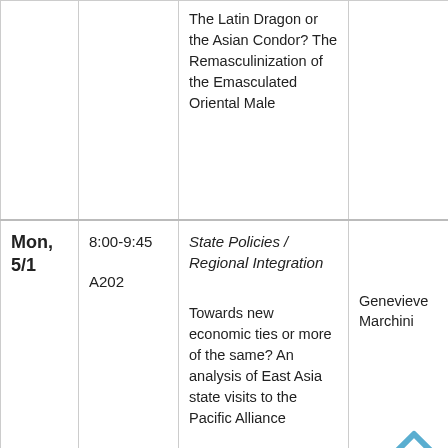| Date | Time/Room | Session/Title | Author |
| --- | --- | --- | --- |
|  |  | The Latin Dragon or the Asian Condor? The Remasculinization of the Emasculated Oriental Male |  |
| Mon, 5/1 | 8:00-9:45
A202 | State Policies / Regional Integration

Towards new economic ties or more of the same? An analysis of East Asia state visits to the Pacific Alliance | Genevieve Marchini |